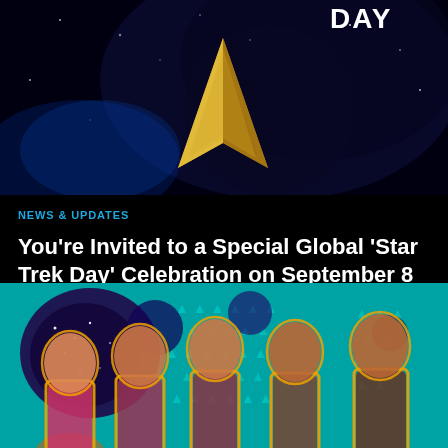[Figure (photo): Star Trek Day promotional image with the Starfleet delta/chevron logo in gold against a dark space background with text 'DAY' visible in the upper right]
NEWS & UPDATES
You're Invited to a Special Global 'Star Trek Day' Celebration on September 8
Join Paramount+ and fans from around the world for a global …
[Figure (photo): Colorful stylized promotional image showing multiple versions of the same Asian woman in Star Trek uniforms posed in a row against a teal space background with gold outlines, suggesting a multiverse or multiple characters theme]